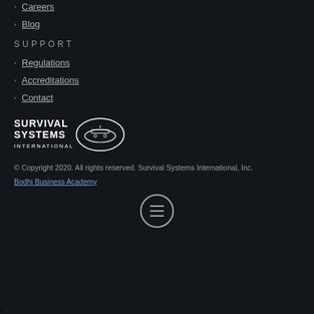Careers
Blog
SUPPORT
Regulations
Accreditations
Contact
[Figure (logo): Survival Systems International logo with text and oval emblem]
© Copyright 2020. All rights reserved. Survival Systems International, Inc.
Bodhi Business Academy
[Figure (other): Circular hamburger menu button icon]